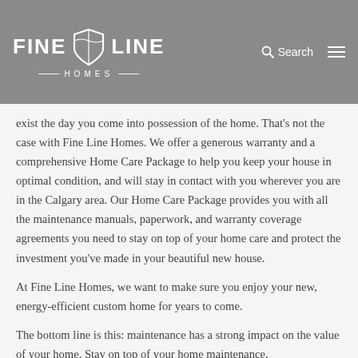FINE LINE HOMES — Search
exist the day you come into possession of the home. That's not the case with Fine Line Homes. We offer a generous warranty and a comprehensive Home Care Package to help you keep your house in optimal condition, and will stay in contact with you wherever you are in the Calgary area. Our Home Care Package provides you with all the maintenance manuals, paperwork, and warranty coverage agreements you need to stay on top of your home care and protect the investment you've made in your beautiful new house.
At Fine Line Homes, we want to make sure you enjoy your new, energy-efficient custom home for years to come.
The bottom line is this: maintenance has a strong impact on the value of your home. Stay on top of your home maintenance, and your home value will rise. Neglect it, and you...